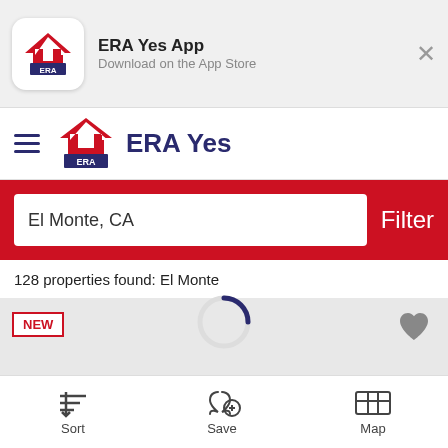[Figure (screenshot): ERA Real Estate app icon with red roof/arrow logo on white rounded square background]
ERA Yes App
Download on the App Store
[Figure (logo): ERA Real Estate logo with red roof/chevron above ERA text and REAL ESTATE subtitle]
ERA Yes
El Monte, CA
Filter
128 properties found: El Monte
NEW
[Figure (other): Loading spinner circle partially visible at bottom of listing area]
Sort
Save
Map